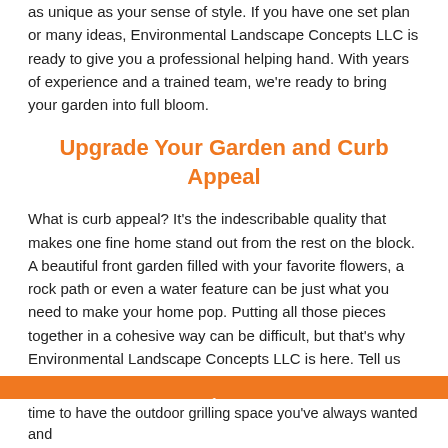as unique as your sense of style. If you have one set plan or many ideas, Environmental Landscape Concepts LLC is ready to give you a professional helping hand. With years of experience and a trained team, we're ready to bring your garden into full bloom.
Upgrade Your Garden and Curb Appeal
What is curb appeal? It's the indescribable quality that makes one fine home stand out from the rest on the block. A beautiful front garden filled with your favorite flowers, a rock path or even a water feature can be just what you need to make your home pop. Putting all those pieces together in a cohesive way can be difficult, but that's why Environmental Landscape Concepts LLC is here. Tell us your design dreams and we'll make it happen.
Make Your Back Yard an Oasis with a Professional Garden Design Service
[Figure (other): Orange call-to-action bar with a white phone icon in the center]
time to have the outdoor grilling space you've always wanted and